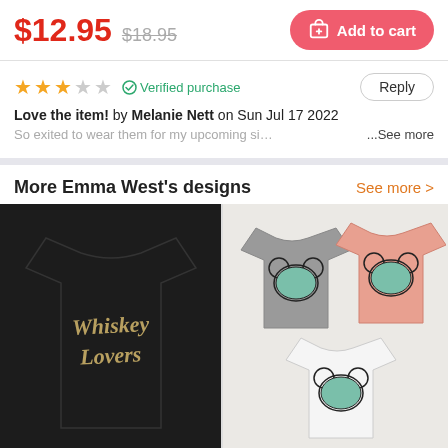$12.95  $18.95
Add to cart
★★★☆☆  ✓ Verified purchase   Reply
Love the item! by Melanie Nett on Sun Jul 17 2022
So exited to wear them for my upcoming sister's wed... ...See more
More Emma West's designs
See more >
[Figure (photo): Black t-shirt with 'Whiskey Lovers' gold script text design]
[Figure (photo): Three t-shirts (grey, peach/salmon, white) with Mickey Mouse silhouette castle design]